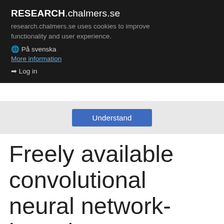RESEARCH.chalmers.se
research.chalmers.se uses cookies to improve functionality and user experience.
På svenska
More information
Log in
[Figure (screenshot): Cookie consent banner with 'Understand' button on a grey background]
Freely available convolutional neural network-based quantification of PET/CT lesions is associated with...